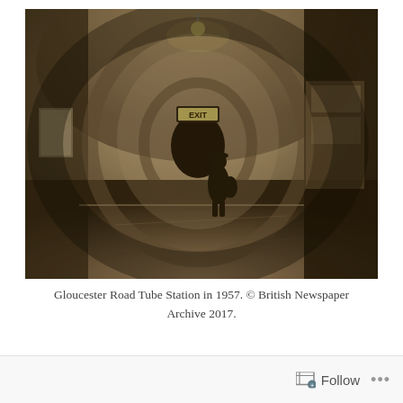[Figure (photo): Black and white sepia-toned historical photograph of Gloucester Road Tube Station in 1957. The image shows the curved tunnel interior with arched ceiling, a platform, an EXIT sign illuminated in the background, advertisement posters on the walls, and a silhouetted figure of a person standing on the platform.]
Gloucester Road Tube Station in 1957. © British Newspaper Archive 2017.